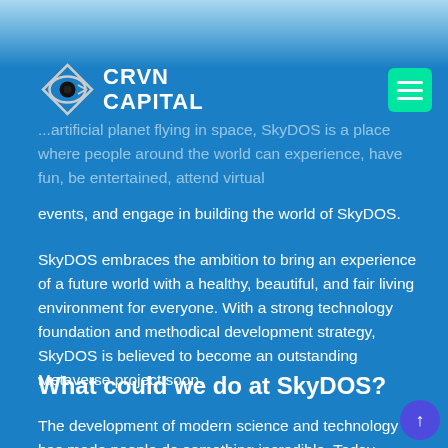[Figure (photo): Top portion of page with sky/space background image, partially visible]
[Figure (logo): CRVN Capital logo with eye/arrow icon on left and bold text CRVN CAPITAL on right]
...artificial planet flying in space, SkyDOS is a place where people around the world can experience, have fun, be entertained, attend virtual events, and engage in building the world of SkyDOS.
SkyDOS embraces the ambition to bring an experience of a future world with a healthy, beautiful, and fair living environment for everyone. With a strong technology foundation and methodical development strategy, SkyDOS is believed to become an outstanding Metaverse project soon.
What could we do at SkyDOS?
The development of modern science and technology has made people do something incredible. Today, with